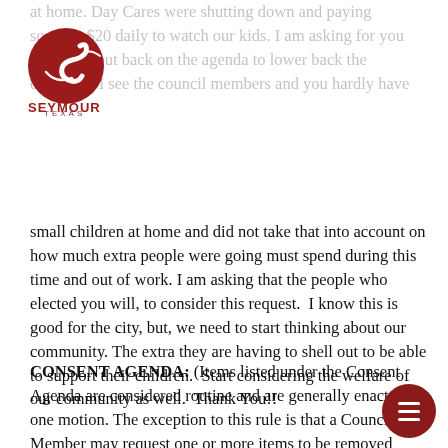at home. Day Cares were shutting down and paying some $20 daily to watch our kids. I am asking for you will please put back on the agenda to lower back the elect... I see the council members and you hardly have
[Figure (logo): Seymour Texas city logo: red circular emblem with stylized 'S' shape, text SEYMOUR TEXAS below]
small children at home and did not take that into account on how much extra people were going must spend during this time and out of work. I am asking that the people who elected you will, to consider this request. I know this is good for the city, but, we need to start thinking about our community. The extra they are having to shell out to be able to support their children. Start considering the welfare of our community as well. Thank You!!
CONSENT AGENDA: (Items listed under the Consent Agenda are considered routine and are generally enacted in one motion. The exception to this rule is that a Council Member may request one or more items to be removed from the Consent Agenda for separate discussion and action.)